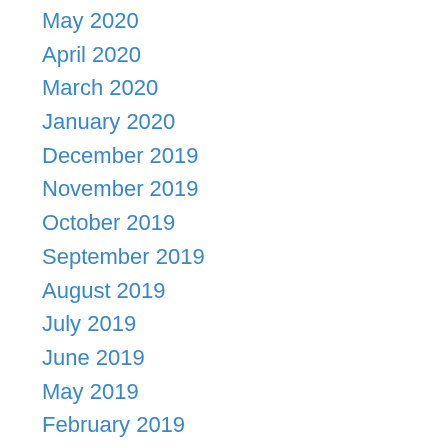May 2020
April 2020
March 2020
January 2020
December 2019
November 2019
October 2019
September 2019
August 2019
July 2019
June 2019
May 2019
February 2019
January 2019
October 2018